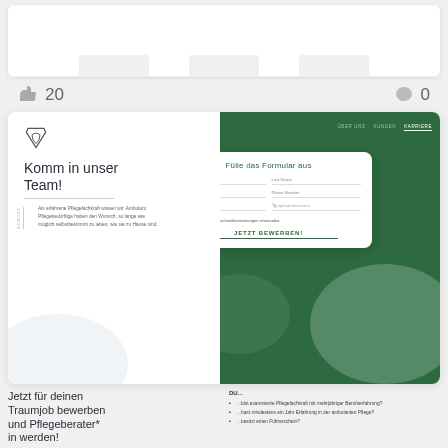[Figure (screenshot): Top partial screenshot of a webpage showing social media post top bar]
20
0
[Figure (screenshot): Screenshot of a German nursing/care company career webpage. Left side shows logo, heading 'Komm in unser Team!' with body text about ambulant care. Right side shows dark green navigation bar with ÜBER UNS, KUNDEN, KARRIERE and a white form card titled 'Fülle das Formular aus' with fields for First Name, Last Name, Email Address, Phone Number, Upload CV, and a checkbox and JETZT BEWERBEN! button]
Jetzt für deinen Traumjob bewerben und Pflegeberater* in werden!
DU...
...bist examinierte Pflegefachkraft mit mehrjähriger Berufserfahrung?
...hast mindestens ein Jahr Erfahrung in der ambulanten Pflege?
...besitzt einen Führerschein?